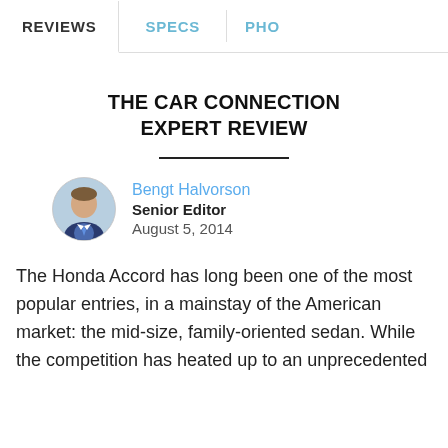REVIEWS | SPECS | PHO
THE CAR CONNECTION EXPERT REVIEW
Bengt Halvorson
Senior Editor
August 5, 2014
The Honda Accord has long been one of the most popular entries, in a mainstay of the American market: the mid-size, family-oriented sedan. While the competition has heated up to an unprecedented level over the past several